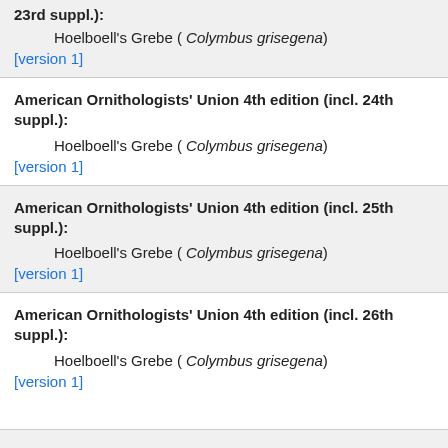23rd suppl.):
Hoelboell's Grebe ( Colymbus grisegena)
[version 1]
American Ornithologists' Union 4th edition (incl. 24th suppl.):
Hoelboell's Grebe ( Colymbus grisegena)
[version 1]
American Ornithologists' Union 4th edition (incl. 25th suppl.):
Hoelboell's Grebe ( Colymbus grisegena)
[version 1]
American Ornithologists' Union 4th edition (incl. 26th suppl.):
Hoelboell's Grebe ( Colymbus grisegena)
[version 1]